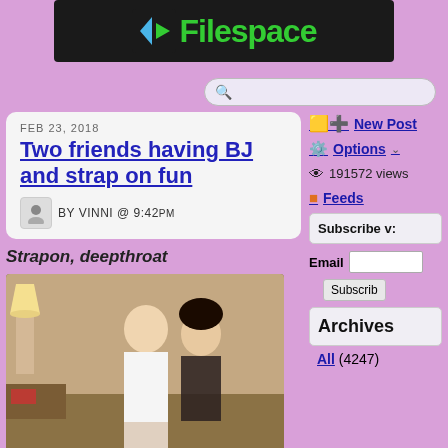[Figure (logo): Filespace logo on dark background]
[Figure (screenshot): Search bar with magnifying glass icon]
FEB 23, 2018
Two friends having BJ and strap on fun
BY VINNI @ 9:42PM
New Post
Options
191572 views
Feeds
Subscribe v:
Email
Subscrib
Archives
All (4247)
Strapon, deepthroat
[Figure (photo): Two women in a room, one blonde one dark-haired]